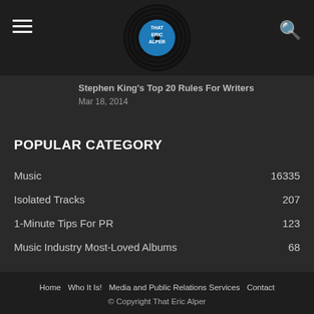[Figure (logo): That Eric Alper logo — vinyl record with blue center label and text THAT ERIC ALPER]
Stephen King's Top 20 Rules For Writers
Mar 18, 2014
POPULAR CATEGORY
Music 16335
Isolated Tracks 207
1-Minute Tips For PR 123
Music Industry Most-Loved Albums 68
Home  Who It Is!  Media and Public Relations Services  Contact
© Copyright That Eric Alper